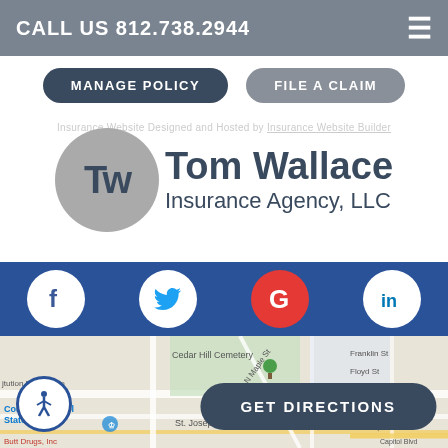CALL US 812.738.2944
MANAGE POLICY
FILE A CLAIM
Insurance Website Designed and Hosted by Insurance Website Builder
Tom Wallace Insurance Agency, LLC
[Figure (logo): TW circular logo monogram for Tom Wallace Insurance Agency, LLC]
[Figure (infographic): Social media icons bar with Facebook, Twitter, Google, and LinkedIn icons on blue background]
[Figure (map): Google Maps view showing area around Corydon, Indiana with Cedar Hill Cemetery, St. Joseph Catholic, Corydon Capitol State Historic site visible]
GET DIRECTIONS